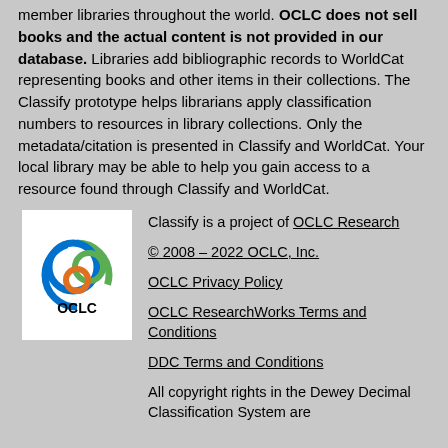member libraries throughout the world. OCLC does not sell books and the actual content is not provided in our database. Libraries add bibliographic records to WorldCat representing books and other items in their collections. The Classify prototype helps librarians apply classification numbers to resources in library collections. Only the metadata/citation is presented in Classify and WorldCat. Your local library may be able to help you gain access to a resource found through Classify and WorldCat.
[Figure (logo): OCLC logo: circular arcs in blue, green, and orange with OCLC text below]
Classify is a project of OCLC Research
© 2008 – 2022 OCLC, Inc.
OCLC Privacy Policy
OCLC ResearchWorks Terms and Conditions
DDC Terms and Conditions
All copyright rights in the Dewey Decimal Classification System are